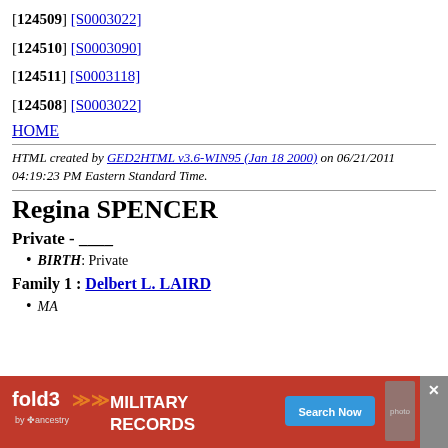[124509] [S0003022]
[124510] [S0003090]
[124511] [S0003118]
[124508] [S0003022]
HOME
HTML created by GED2HTML v3.6-WIN95 (Jan 18 2000) on 06/21/2011 04:19:23 PM Eastern Standard Time.
Regina SPENCER
Private - ____
BIRTH: Private
Family 1 : Delbert L. LAIRD
MA...
[Figure (other): fold3 Military Records advertisement banner with Search Now button and close X button]